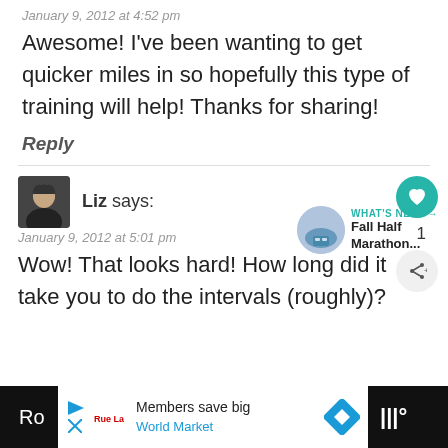January 9, 2012 at 4:52 pm
Awesome! I've been wanting to get quicker miles in so hopefully this type of training will help! Thanks for sharing!
Reply
Liz says:
January 9, 2012 at 5:01 pm
Wow! That looks hard! How long did it take you to do the intervals (roughly)?
[Figure (other): WHAT'S NEXT arrow label with thumbnail image and text 'Fall Half Marathon...']
Members save big World Market